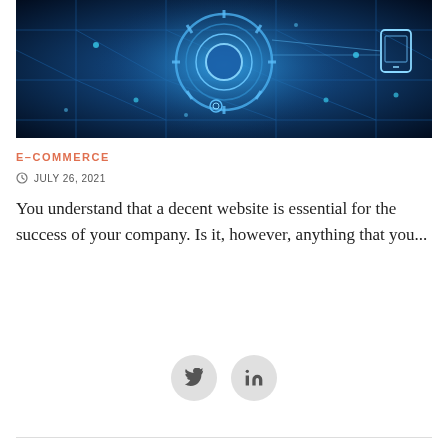[Figure (photo): Technology/e-commerce themed hero image with blue circuit board and digital interface elements on dark blue background]
E-COMMERCE
JULY 26, 2021
You understand that a decent website is essential for the success of your company. Is it, however, anything that you...
[Figure (other): Social media share buttons: Twitter and LinkedIn icons in circular grey buttons]